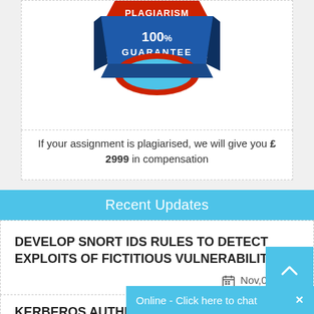[Figure (logo): Plagiarism guarantee badge with '100% GUARANTEE' text on a blue and red ribbon/seal badge]
If your assignment is plagiarised, we will give you £ 2999 in compensation
Recent Updates
DEVELOP SNORT IDS RULES TO DETECT EXPLOITS OF FICTITIOUS VULNERABILITY
Nov,08,2018
KERBEROS AUTHENTICATION PROTOCOL
Online - Click here to chat